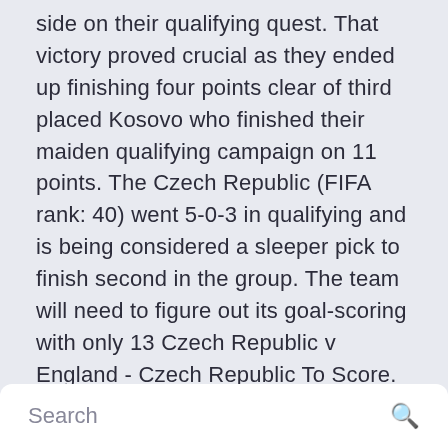side on their qualifying quest. That victory proved crucial as they ended up finishing four points clear of third placed Kosovo who finished their maiden qualifying campaign on 11 points. The Czech Republic (FIFA rank: 40) went 5-0-3 in qualifying and is being considered a sleeper pick to finish second in the group. The team will need to figure out its goal-scoring with only 13 Czech Republic v England - Czech Republic To Score. New Customer Offer.
Search